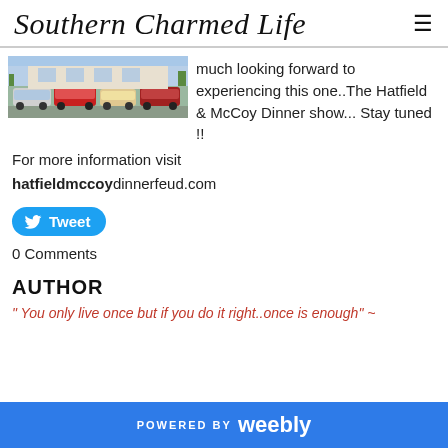Southern Charmed Life
[Figure (photo): A parking lot scene with cars and a building in the background]
much looking forward to experiencing this one..The Hatfield & McCoy Dinner show... Stay tuned !!
For more information visit
hatfieldmccoydinnerfeud.com
Tweet
0 Comments
AUTHOR
" You only live once but if you do it right..once is enough" ~
POWERED BY weebly